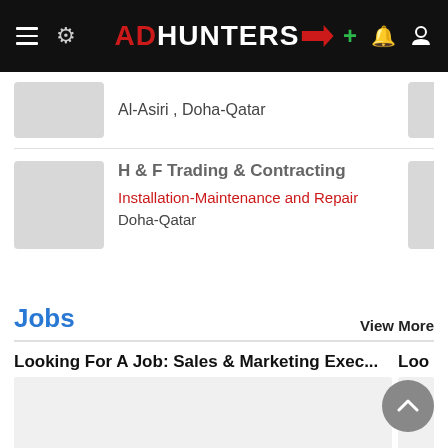ADHUNTERS
Al-Asiri , Doha-Qatar
H & F Trading & Contracting
Installation-Maintenance and Repair
Doha-Qatar
Jobs
View More
Looking For A Job: Sales & Marketing Exec...
Loo